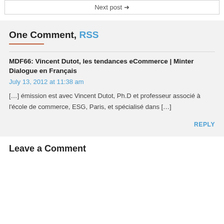Next post →
One Comment, RSS
MDF66: Vincent Dutot, les tendances eCommerce | Minter Dialogue en Français
July 13, 2012 at 11:38 am
[…] émission est avec Vincent Dutot, Ph.D et professeur associé à l'école de commerce, ESG, Paris, et spécialisé dans […]
REPLY
Leave a Comment